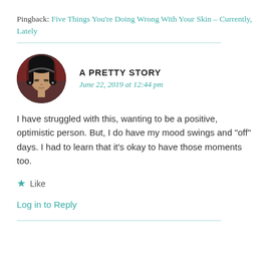Pingback: Five Things You're Doing Wrong With Your Skin – Currently, Lately
A PRETTY STORY
June 22, 2019 at 12:44 pm
[Figure (photo): Circular avatar photo of a woman with dark hair looking down, with bookshelves in the background]
I have struggled with this, wanting to be a positive, optimistic person. But, I do have my mood swings and "off" days. I had to learn that it's okay to have those moments too.
★ Like
Log in to Reply